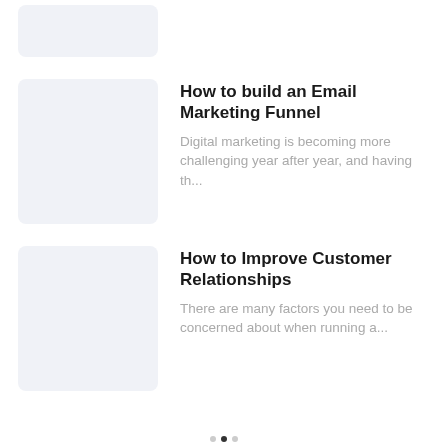[Figure (illustration): Light blue-grey placeholder image card, partially cut off at top]
How to build an Email Marketing Funnel
Digital marketing is becoming more challenging year after year, and having th...
How to Improve Customer Relationships
There are many factors you need to be concerned about when running a...
•